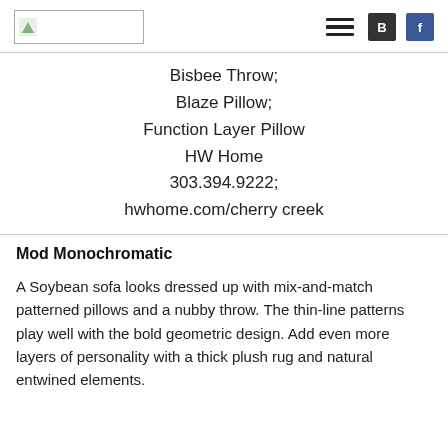[Figure (logo): Logo placeholder image with green icon in a bordered rectangle]
Bisbee Throw;
Blaze Pillow;
Function Layer Pillow
HW Home
303.394.9222;
hwhome.com/cherry creek
Mod Monochromatic
A Soybean sofa looks dressed up with mix-and-match patterned pillows and a nubby throw. The thin-line patterns play well with the bold geometric design. Add even more layers of personality with a thick plush rug and natural entwined elements.